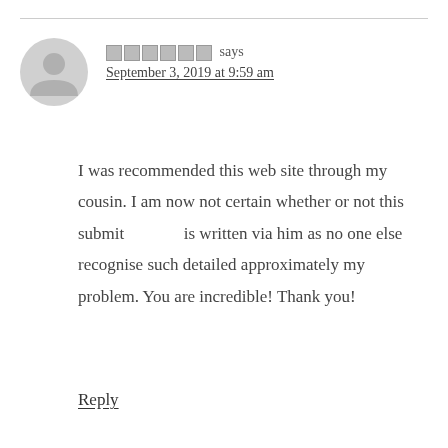[Figure (illustration): Gray circular avatar icon of a person silhouette]
[redacted] says
September 3, 2019 at 9:59 am
I was recommended this web site through my cousin. I am now not certain whether or not this submit is written via him as no one else recognise such detailed approximately my problem. You are incredible! Thank you!
Reply